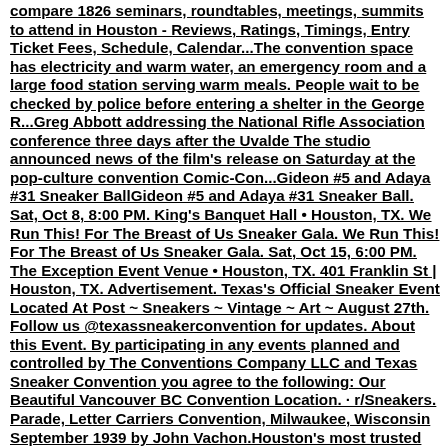compare 1826 seminars, roundtables, meetings, summits to attend in Houston - Reviews, Ratings, Timings, Entry Ticket Fees, Schedule, Calendar...The convention space has electricity and warm water, an emergency room and a large food station serving warm meals. People wait to be checked by police before entering a shelter in the George R...Greg Abbott addressing the National Rifle Association conference three days after the Uvalde The studio announced news of the film's release on Saturday at the pop-culture convention Comic-Con...Gideon #5 and Adaya #31 Sneaker BallGideon #5 and Adaya #31 Sneaker Ball. Sat, Oct 8, 8:00 PM. King's Banquet Hall • Houston, TX. We Run This! For The Breast of Us Sneaker Gala. We Run This! For The Breast of Us Sneaker Gala. Sat, Oct 15, 6:00 PM. The Exception Event Venue • Houston, TX. 401 Franklin St | Houston, TX. Advertisement. Texas's Official Sneaker Event Located At Post ~ Sneakers ~ Vintage ~ Art ~ August 27th. Follow us @texassneakerconvention for updates. About this Event. By participating in any events planned and controlled by The Conventions Company LLC and Texas Sneaker Convention you agree to the following: Our Beautiful Vancouver BC Convention Location. · r/Sneakers. Parade, Letter Carriers Convention, Milwaukee, Wisconsin September 1939 by John Vachon.Houston's most trusted name in sneakers! Independent and locally owned and operated since 2004. Sneaker Summit is